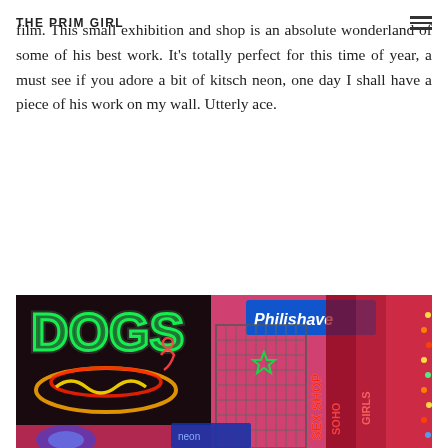THE PRIM GIRL
film. This small exhibition and shop is an absolute wonderland of some of his best work. It's totally perfect for this time of year, a must see if you adore a bit of kitsch neon, one day I shall have a piece of his work on my wall. Utterly ace.
[Figure (photo): Interior photo of a neon sign exhibition/shop showing colorful neon signs including a 'DOGS' hot dog sign in green and red, a blue 'Philishave' sign, and various other neon signs including 'SEX SHOP' in red, against a pink/magenta lit wall with wire mesh shelving.]